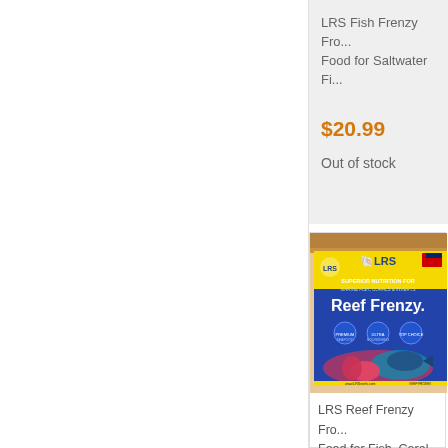LRS Fish Frenzy Fro... Food for Saltwater Fi...
$20.99
Out of stock
[Figure (photo): LRS Reef Frenzy frozen food package with yellow and blue label showing marine fish, corals and inverts]
LRS Reef Frenzy Fro... Food for Fish, Coral & Inverts, 8 oz